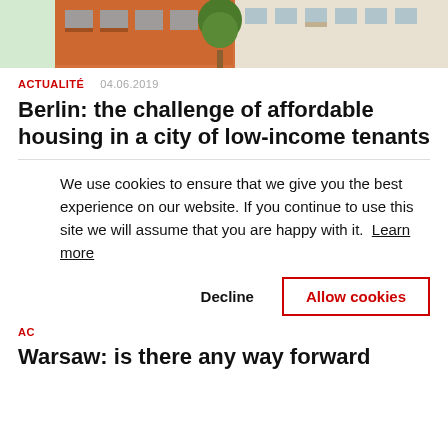[Figure (photo): Partial photo of building facades with balconies and a tree, cropped at top of page]
ACTUALITÉ   04.06.2019
Berlin: the challenge of affordable housing in a city of low-income tenants
We use cookies to ensure that we give you the best experience on our website. If you continue to use this site we will assume that you are happy with it.  Learn more
Decline   Allow cookies
AC
Warsaw: is there any way forward